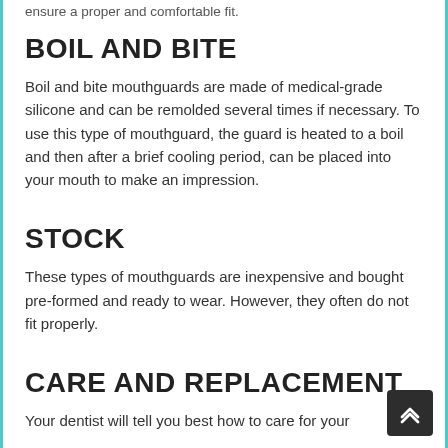ensure a proper and comfortable fit.
BOIL AND BITE
Boil and bite mouthguards are made of medical-grade silicone and can be remolded several times if necessary. To use this type of mouthguard, the guard is heated to a boil and then after a brief cooling period, can be placed into your mouth to make an impression.
STOCK
These types of mouthguards are inexpensive and bought pre-formed and ready to wear. However, they often do not fit properly.
CARE AND REPLACEMENT
Your dentist will tell you best how to care for your